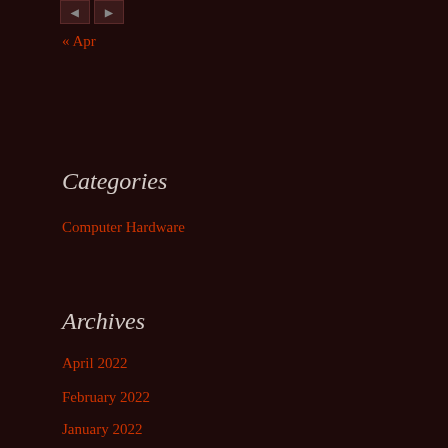[Figure (other): Two small navigation buttons at top]
« Apr
Categories
Computer Hardware
Archives
April 2022
February 2022
January 2022
January 2021